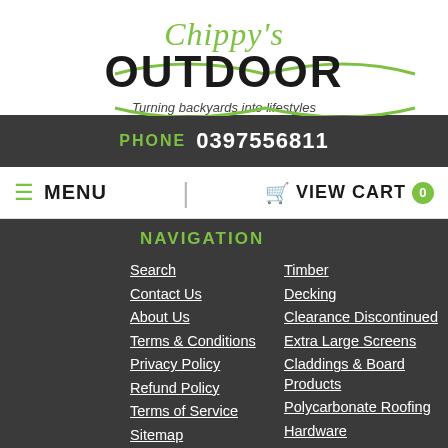[Figure (logo): Chippy's Outdoor logo with green script text 'Chippy's' above bold black 'OUTDOOR' text, tagline 'Turning backyards into lifestyles']
PHONE  0397556811
MENU   VIEW CART 0
NAVIGATION
Search
Contact Us
About Us
Terms & Conditions
Privacy Policy
Refund Policy
Terms of Service
Sitemap
Timber
Decking
Clearance Discontinued
Extra Large Screens
Claddings & Board Products
Polycarbonate Roofing
Hardware
Concrete Products
Accessories